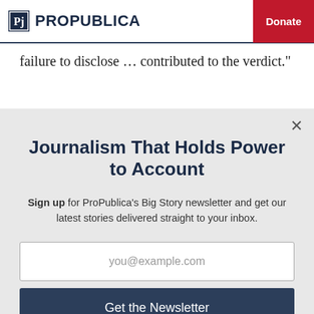ProPublica | Donate
failure to disclose … contributed to the verdict."
Journalism That Holds Power to Account
Sign up for ProPublica's Big Story newsletter and get our latest stories delivered straight to your inbox.
you@example.com
Get the Newsletter
No thanks, I'm all set
This site is protected by reCAPTCHA and the Google Privacy Policy and Terms of Service apply.